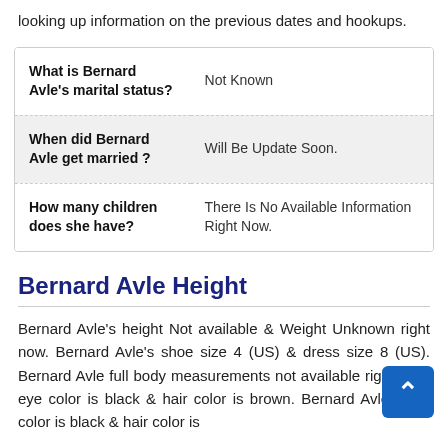looking up information on the previous dates and hookups.
| Question | Answer |
| --- | --- |
| What is Bernard Avle's marital status? | Not Known |
| When did Bernard Avle get married ? | Will Be Update Soon. |
| How many children does she have? | There Is No Available Information Right Now. |
Bernard Avle Height
Bernard Avle's height Not available & Weight Unknown right now. Bernard Avle's shoe size 4 (US) & dress size 8 (US). Bernard Avle full body measurements not available right now. eye color is black & hair color is brown. Bernard Avle's eye color is black & hair color is